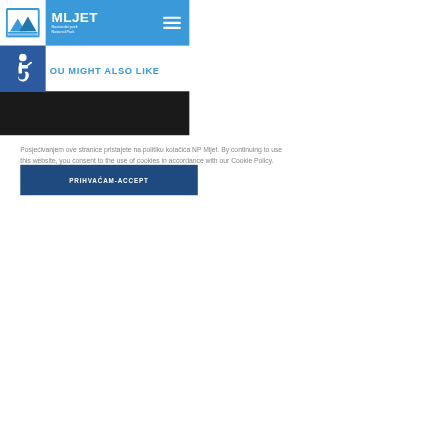MLJET Nacionalni park / National Park
YOU MIGHT ALSO LIKE
[Figure (screenshot): Dark black background image area, cropped content visible partially on right side]
Posjećivanjem ove stranice pristajete na politiku kolačića NP Mljet. By continuing to use this website, you consent to the use of cookies in accordance with our Cookie Policy.
PRIHVAĆAM-ACCEPT